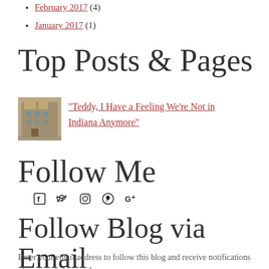February 2017 (4)
January 2017 (1)
Top Posts & Pages
[Figure (photo): Thumbnail photo of a historic brick building]
"Teddy, I Have a Feeling We're Not in Indiana Anymore"
Follow Me
[Figure (infographic): Social media icons: Facebook, Twitter, Instagram, Pinterest, Google+]
Follow Blog via Email
Enter your email address to follow this blog and receive notifications of new posts by email.